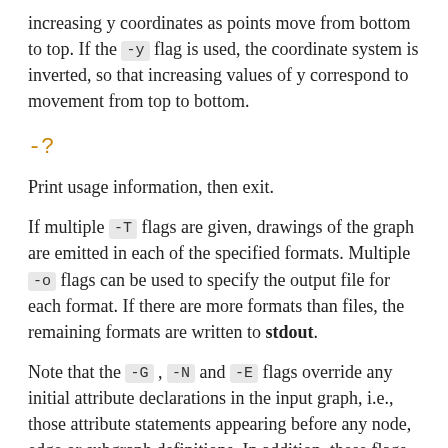increasing y coordinates as points move from bottom to top. If the -y flag is used, the coordinate system is inverted, so that increasing values of y correspond to movement from top to bottom.
-?
Print usage information, then exit.
If multiple -T flags are given, drawings of the graph are emitted in each of the specified formats. Multiple -o flags can be used to specify the output file for each format. If there are more formats than files, the remaining formats are written to stdout.
Note that the -G , -N and -E flags override any initial attribute declarations in the input graph, i.e., those attribute statements appearing before any node, edge or subgraph definitions. In addition, these flags cause